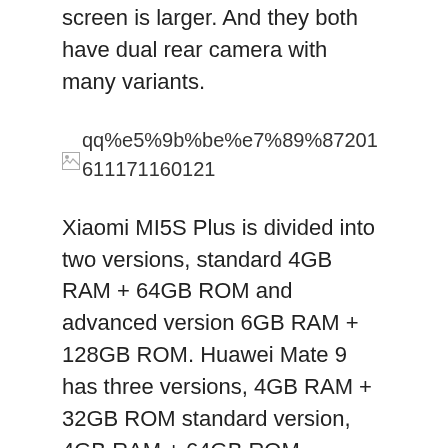screen is larger. And they both have dual rear camera with many variants.
[Figure (other): Broken image placeholder with filename: qq%e5%9b%be%e7%89%87201611171160121]
Xiaomi MI5S Plus is divided into two versions, standard 4GB RAM + 64GB ROM and advanced version 6GB RAM + 128GB ROM. Huawei Mate 9 has three versions, 4GB RAM + 32GB ROM standard version, 4GB RAM + 64GB ROM advanced version, and 6GB RAM + 128GB ROM top version.